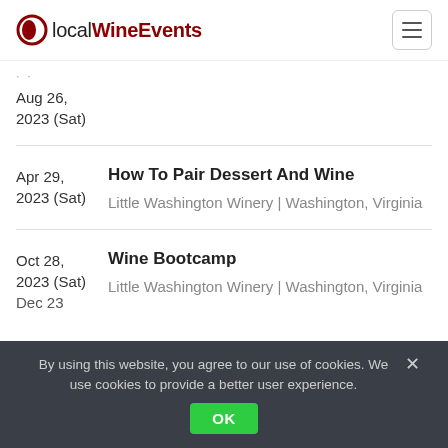localWineEvents
Aug 26, 2023 (Sat)
How To Pair Dessert And Wine
Little Washington Winery | Washington, Virginia
Apr 29, 2023 (Sat)
Wine Bootcamp
Little Washington Winery | Washington, Virginia
Oct 28, 2023 (Sat)
Dec 23
By using this website, you agree to our use of cookies. We use cookies to provide a better user experience.